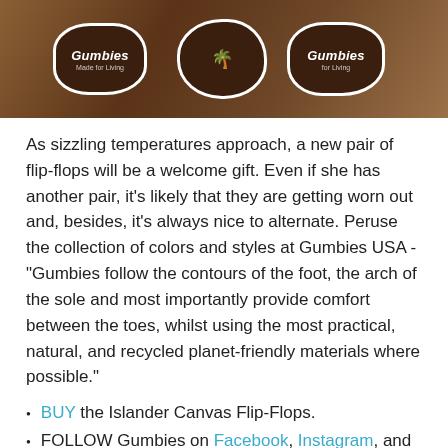[Figure (photo): Photo of multiple Gumbies brand stickers/logos on a surface. The stickers are dark brown with white borders shaped like Australia, featuring the text 'Gumbies Made for Living' and a palm tree icon.]
As sizzling temperatures approach, a new pair of flip-flops will be a welcome gift. Even if she has another pair, it's likely that they are getting worn out and, besides, it's always nice to alternate. Peruse the collection of colors and styles at Gumbies USA - "Gumbies follow the contours of the foot, the arch of the sole and most importantly provide comfort between the toes, whilst using the most practical, natural, and recycled planet-friendly materials where possible."
BUY the Islander Canvas Flip-Flops.
FOLLOW Gumbies on Facebook, Instagram, and Twitter.
WATER AEROBIC SHOES